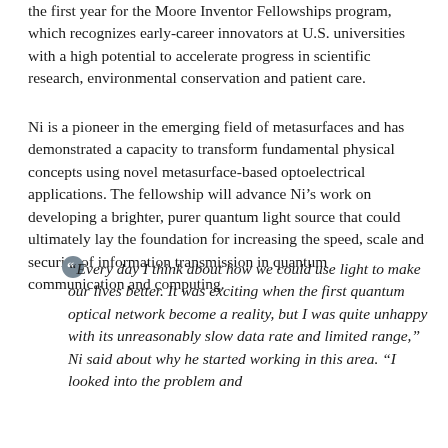the first year for the Moore Inventor Fellowships program, which recognizes early-career innovators at U.S. universities with a high potential to accelerate progress in scientific research, environmental conservation and patient care.
Ni is a pioneer in the emerging field of metasurfaces and has demonstrated a capacity to transform fundamental physical concepts using novel metasurface-based optoelectrical applications. The fellowship will advance Ni's work on developing a brighter, purer quantum light source that could ultimately lay the foundation for increasing the speed, scale and security of information transmission in quantum communication and computing.
“Every day I think about how we could use light to make our lives better. It was exciting when the first quantum optical network become a reality, but I was quite unhappy with its unreasonably slow data rate and limited range,” Ni said about why he started working in this area. “I looked into the problem and